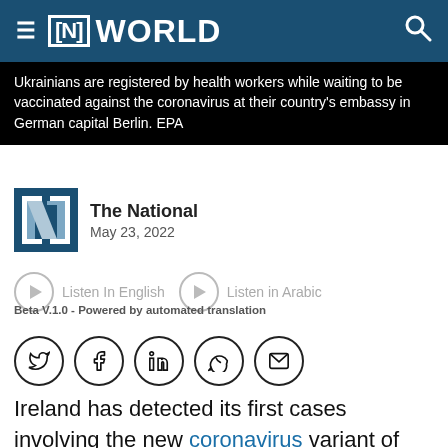≡ [N] WORLD
Ukrainians are registered by health workers while waiting to be vaccinated against the coronavirus at their country's embassy in German capital Berlin. EPA
The National
May 23, 2022
Listen In English   Listen in Arabic
Beta V.1.0 - Powered by automated translation
[Figure (other): Social media sharing icons: Twitter, Facebook, LinkedIn, WhatsApp, Email]
Ireland has detected its first cases involving the new coronavirus variant of concern that